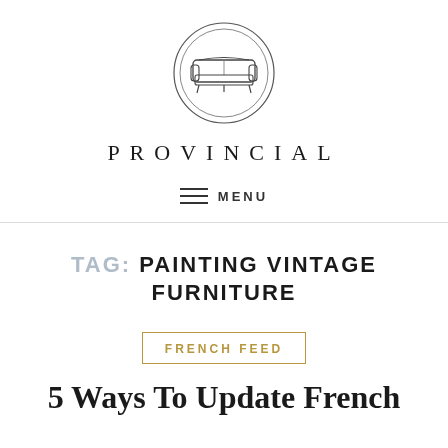[Figure (logo): Circular logo with an illustration of a French settee/sofa inside a double-ring circle border]
PROVINCIAL
≡ MENU
TAG: PAINTING VINTAGE FURNITURE
FRENCH FEED
5 Ways To Update French